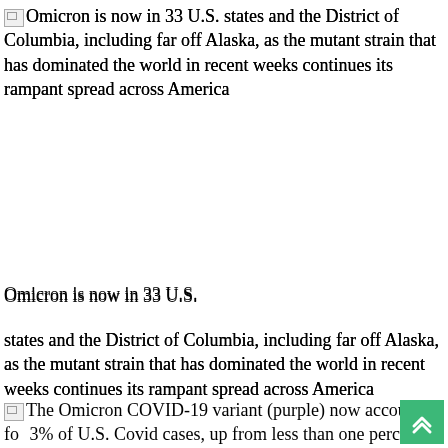Omicron is now in 33 U.S. states and the District of Columbia, including far off Alaska, as the mutant strain that has dominated the world in recent weeks continues its rampant spread across America
Omicron is now in 33 U.S.
states and the District of Columbia, including far off Alaska, as the mutant strain that has dominated the world in recent weeks continues its rampant spread across America
The Omicron COVID-19 variant (purple) now accounts for 3% of U.S. Covid cases, up from less than one percent last week. The Delta variant (orange) is still the nation's dominant strain, accounting for 97% of new cases, per CDC data
The Omicron COVID-19 variant (purple) now accounts for of U.S.